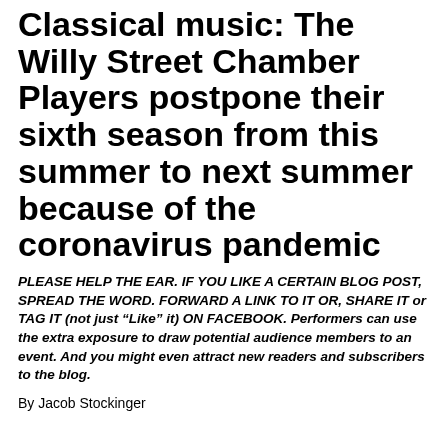Classical music: The Willy Street Chamber Players postpone their sixth season from this summer to next summer because of the coronavirus pandemic
PLEASE HELP THE EAR. IF YOU LIKE A CERTAIN BLOG POST, SPREAD THE WORD. FORWARD A LINK TO IT OR, SHARE IT or TAG IT (not just “Like” it) ON FACEBOOK. Performers can use the extra exposure to draw potential audience members to an event. And you might even attract new readers and subscribers to the blog.
By Jacob Stockinger